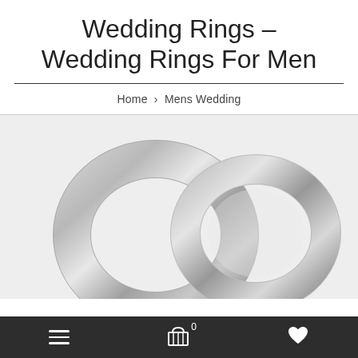Wedding Rings - Wedding Rings For Men
Home > Mens Wedding
[Figure (photo): Two silver/platinum wedding rings overlapping on a light grey background]
Navigation bar with menu, cart (0), and heart/wishlist icons